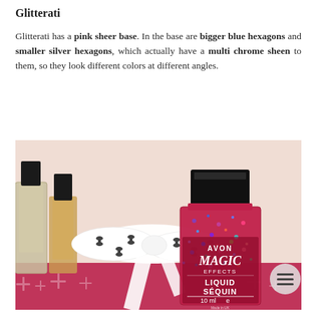Glitterati
Glitterati has a pink sheer base. In the base are bigger blue hexagons and smaller silver hexagons, which actually have a multi chrome sheen to them, so they look different colors at different angles.
[Figure (photo): Photo of an Avon Magic Effects Liquid Sequin nail polish bottle (10 ml) with glittery red/pink contents showing blue and silver sequins, placed in front of a white ribbon bow with black pattern and alongside other nail polish bottles, on a pink glittery surface.]